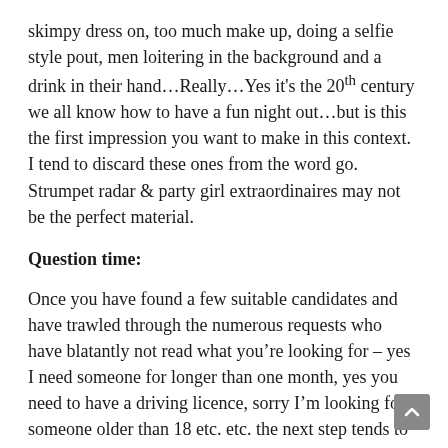skimpy dress on, too much make up, doing a selfie style pout, men loitering in the background and a drink in their hand…Really…Yes it's the 20th century we all know how to have a fun night out…but is this the first impression you want to make in this context. I tend to discard these ones from the word go. Strumpet radar & party girl extraordinaires may not be the perfect material.
Question time:
Once you have found a few suitable candidates and have trawled through the numerous requests who have blatantly not read what you're looking for – yes I need someone for longer than one month, yes you need to have a driving licence, sorry I'm looking for someone older than 18 etc. etc. the next step tends to be the skype call.